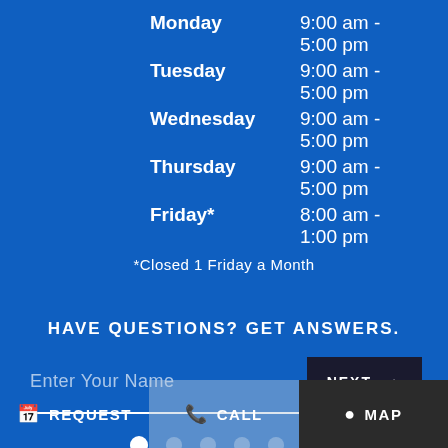| Day | Hours |
| --- | --- |
| Monday | 9:00 am - 5:00 pm |
| Tuesday | 9:00 am - 5:00 pm |
| Wednesday | 9:00 am - 5:00 pm |
| Thursday | 9:00 am - 5:00 pm |
| Friday* | 8:00 am - 1:00 pm |
*Closed 1 Friday a Month
HAVE QUESTIONS? GET ANSWERS.
Enter Your Name
NEXT →
REQUEST  CALL  MAP